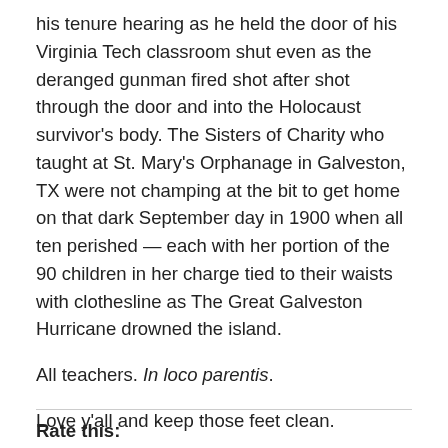his tenure hearing as he held the door of his Virginia Tech classroom shut even as the deranged gunman fired shot after shot through the door and into the Holocaust survivor's body. The Sisters of Charity who taught at St. Mary's Orphanage in Galveston, TX were not champing at the bit to get home on that dark September day in 1900 when all ten perished — each with her portion of the 90 children in her charge tied to their waists with clothesline as The Great Galveston Hurricane drowned the island.
All teachers. In loco parentis.
Love y'all and keep those feet clean.
Rate this: